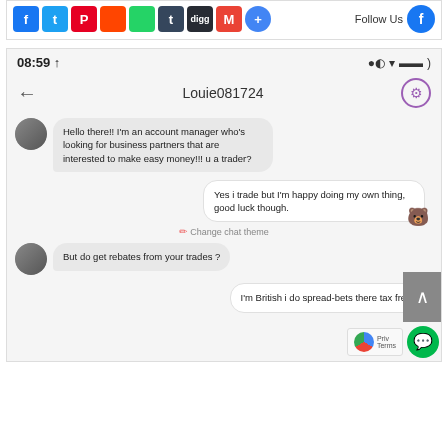[Figure (screenshot): Social media share buttons: Facebook, Twitter, Pinterest, Reddit, WhatsApp, Tumblr, Digg, Gmail, Google Plus. Follow Us label with Facebook icon.]
[Figure (screenshot): Mobile messaging app screenshot showing a chat with user Louie081724. Status bar shows 08:59. Messages: incoming - 'Hello there!! I'm an account manager who's looking for business partners that are interested to make easy money!!! u a trader?'; outgoing - 'Yes i trade but I'm happy doing my own thing, good luck though.'; incoming - 'But do get rebates from your trades ?'; outgoing - 'I'm British i do spread-bets there tax free.' Change chat theme option visible. Scroll up button and reCAPTCHA/chat widgets at bottom right.]